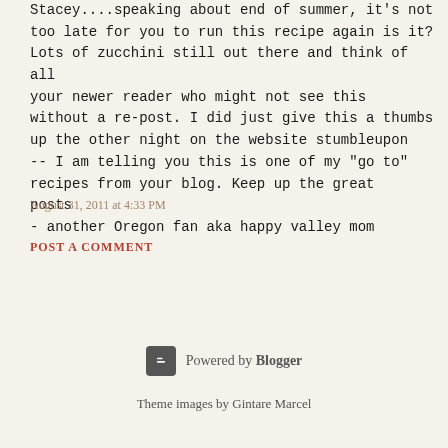Stacey....speaking about end of summer, it's not too late for you to run this recipe again is it? Lots of zucchini still out there and think of all your newer reader who might not see this without a re-post. I did just give this a thumbs up the other night on the website stumbleupon -- I am telling you this is one of my "go to" recipes from your blog. Keep up the great posts
- another Oregon fan aka happy valley mom
August 31, 2011 at 4:33 PM
POST A COMMENT
Powered by Blogger
Theme images by Gintare Marcel